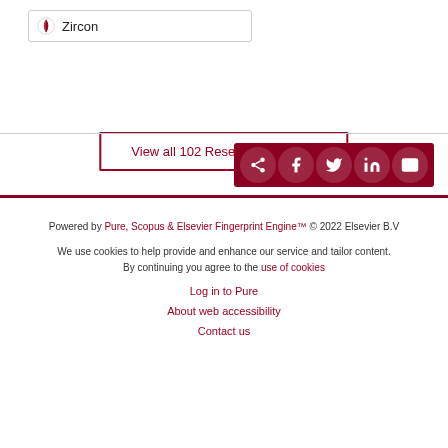Zircon
View all 102 Research outputs
[Figure (other): Social share bar with share, Facebook, Twitter, LinkedIn, and email icons on dark red background]
Powered by Pure, Scopus & Elsevier Fingerprint Engine™ © 2022 Elsevier B.V
We use cookies to help provide and enhance our service and tailor content. By continuing you agree to the use of cookies
Log in to Pure
About web accessibility
Contact us